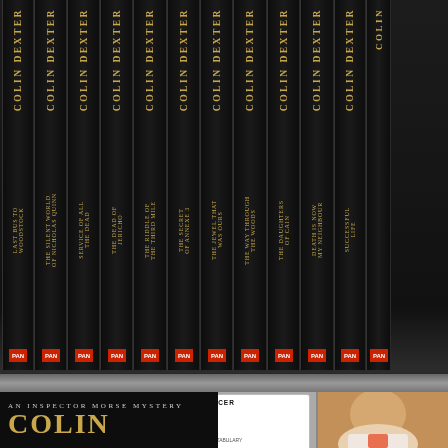[Figure (photo): A shelf of Colin Dexter Inspector Morse mystery novels with black spines and gold lettering, published by Pan Books. Titles visible include: Last Bus to Woodstock, The Silent World of Nicholas Quinn, Service of All the Dead, The Dead of Jericho, The Riddle of the Third Mile, The Secret of Annexe 3, The Jewel That Was Ours, The Way Through the Woods, The Daughters of Cain, Death is Now My Neighbour, Successful Life. Below the shelf is a Police Officer ID card for Detective Chief Inspector E. Morse, a book cover showing 'An Inspector Morse Mystery' and 'COLIN DEXTER', and a photo of an elderly man presumed to be Colin Dexter.]